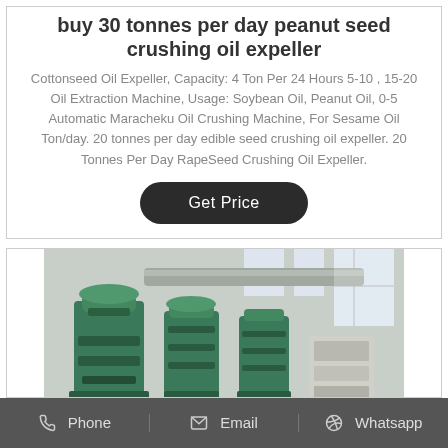buy 30 tonnes per day peanut seed crushing oil expeller
Cottonseed Oil Expeller, Capacity: 4 Ton Per 24 Hours 5-10 , 15-20 Oil Extraction Machine, Usage: Soybean Oil, Peanut Oil, 0-5 Automatic Maracheku Oil Crushing Machine, For Sesame Oil Ton/day. 20 tonnes per day edible seed crushing oil expeller. 20 Tonnes Per Day RapeSeed Crushing Oil Expeller.
Get Price
[Figure (photo): Industrial oil expeller / oil pressing machines in green color inside a factory setting]
Phone   Email   Whatsapp